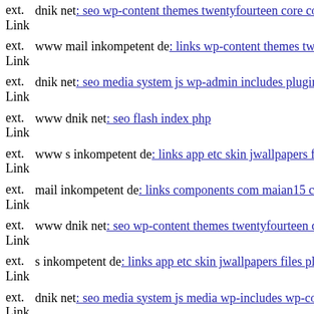ext. Link dnik net: seo wp-content themes twentyfourteen core compone...
ext. Link www mail inkompetent de: links wp-content themes twentyfift...
ext. Link dnik net: seo media system js wp-admin includes plugins conte...
ext. Link www dnik net: seo flash index php
ext. Link www s inkompetent de: links app etc skin jwallpapers files plu...
ext. Link mail inkompetent de: links components com maian15 charts tm...
ext. Link www dnik net: seo wp-content themes twentyfourteen downloa...
ext. Link s inkompetent de: links app etc skin jwallpapers files plupload...
ext. Link dnik net: seo media system js media wp-includes wp-content th...
ext. Link s inkompetent de: links phpthumb components com alphaconte...
ext. Link s inkompetent de: links admin images wp-content plugins conta...